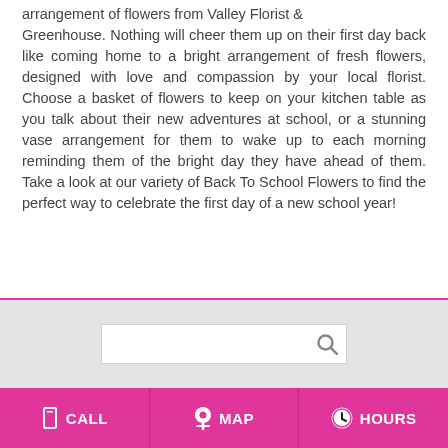arrangement of flowers from Valley Florist & Greenhouse. Nothing will cheer them up on their first day back like coming home to a bright arrangement of fresh flowers, designed with love and compassion by your local florist. Choose a basket of flowers to keep on your kitchen table as you talk about their new adventures at school, or a stunning vase arrangement for them to wake up to each morning reminding them of the bright day they have ahead of them. Take a look at our variety of Back To School Flowers to find the perfect way to celebrate the first day of a new school year!
[Figure (screenshot): A search input box with a magnifying glass icon on a light gray background]
CALL   MAP   HOURS